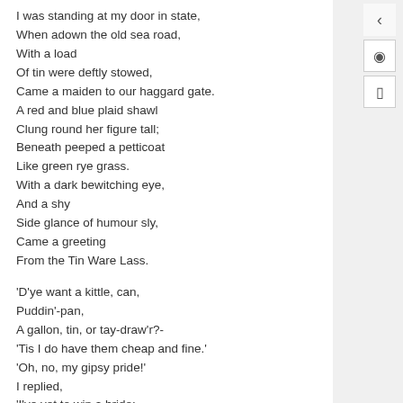I was standing at my door in state,
When adown the old sea road,
With a load
Of tin were deftly stowed,
Came a maiden to our haggard gate.
A red and blue plaid shawl
Clung round her figure tall;
Beneath peeped a petticoat
Like green rye grass.
With a dark bewitching eye,
And a shy
Side glance of humour sly,
Came a greeting
From the Tin Ware Lass.

'D'ye want a kittle, can,
Puddin'-pan,
A gallon, tin, or tay-draw'r?-
'Tis I do have them cheap and fine.'
'Oh, no, my gipsy pride!'
I replied,
'I've yet to win a bride;
And to marry you I much incline!'
'Kind Sir, I see full well
That in plenty you must dwell,